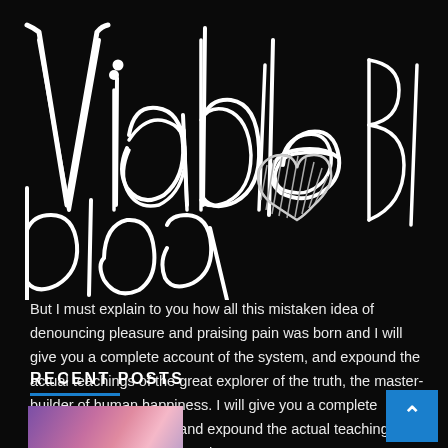[Figure (logo): Viable Blog handwritten script logo in white on black background with a hatched heart symbol]
But I must explain to you how all this mistaken idea of denouncing pleasure and praising pain was born and I will give you a complete account of the system, and expound the actual teachings of the great explorer of the truth, the master-builder of human happiness. I will give you a complete account of the system, and expound the actual teachings of the great explorer of the truth.
RECENT POSTS
[Figure (photo): Thumbnail image with purple and pink gradient tones at bottom left]
Android Make Your Life Easy By R...